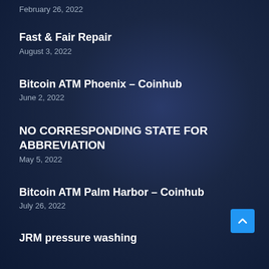February 26, 2022
Fast & Fair Repair
August 3, 2022
Bitcoin ATM Phoenix – Coinhub
June 2, 2022
NO CORRESPONDING STATE FOR ABBREVIATION
May 5, 2022
Bitcoin ATM Palm Harbor – Coinhub
July 26, 2022
JRM pressure washing